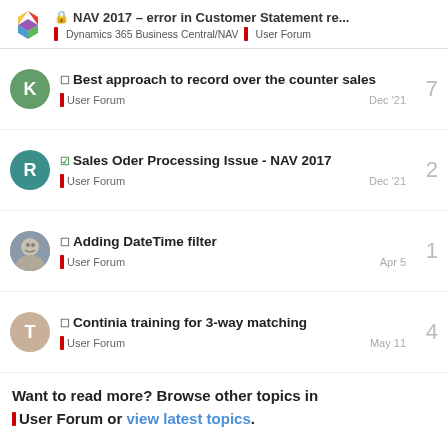NAV 2017 – error in Customer Statement re... | Dynamics 365 Business Central/NAV | User Forum
Best approach to record over the counter sales | User Forum | Dec '21 | 7
Sales Oder Processing Issue - NAV 2017 | User Forum | Dec '21 | 2
Adding DateTime filter | User Forum | Apr 5 | 1
Continia training for 3-way matching | User Forum | May 11 | 4
Want to read more? Browse other topics in User Forum or view latest topics.